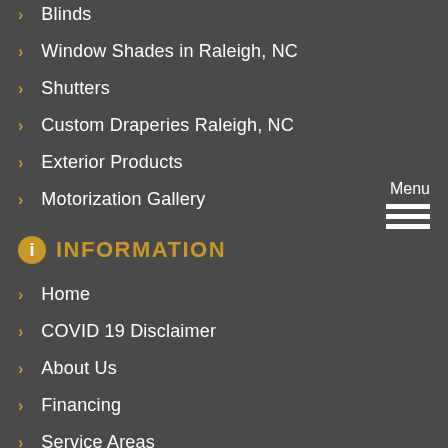Blinds
Window Shades in Raleigh, NC
Shutters
Custom Draperies Raleigh, NC
Exterior Products
Motorization Gallery
INFORMATION
Home
COVID 19 Disclaimer
About Us
Financing
Service Areas
Promotions
Get Inspired